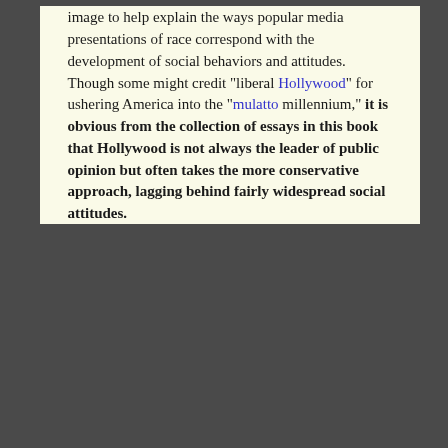image to help explain the ways popular media presentations of race correspond with the development of social behaviors and attitudes. Though some might credit "liberal Hollywood" for ushering America into the "mulatto millennium," it is obvious from the collection of essays in this book that Hollywood is not always the leader of public opinion but often takes the more conservative approach, lagging behind fairly widespread social attitudes.

The editors divide the book into four sections: themes of mixed race representation, miscegenation and romance, genre and mixed race characters, and finally, a section that examines the shift in media presentation of mixed race characters from tragic to heroic. The introduction by Beltrán and Fojas helps set the background and the overall argument that media presentations reveal a cultural shift in American attitudes toward mixed race characters. The introduction also provides some useful notes on terminology.